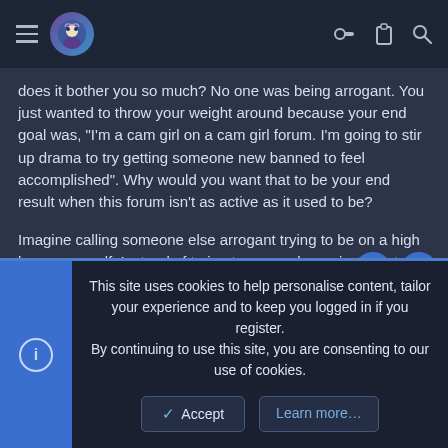Navigation bar with hamburger menu, avatar, key icon, clipboard icon, search icon
does it bother you so much? No one was being arrogant. You just wanted to throw your weight around because your end goal was, "I'm a cam girl on a cam girl forum. I'm going to stir up drama to try getting someone new banned to feel accomplished". Why would you want that to be your end result when this forum isn't as active as it used to be?
Imagine calling someone else arrogant trying to be on a high horse yourself. Instead of trying to cause drama just say to yourself, "Is it really worth my time to start a problem for no reason? Over something so small?". And let's say HYPOTHETICALLY I was trying to be arrogant. Why does it matter to you?
This kind of behavior never fails on forums. Ganging up, territorialism, tribalism, and many other words. It's the reason the majority of messages boards online don't survive with an active comm... fac...
This site uses cookies to help personalise content, tailor your experience and to keep you logged in if you register.
By continuing to use this site, you are consenting to our use of cookies.
Accept
Learn more...